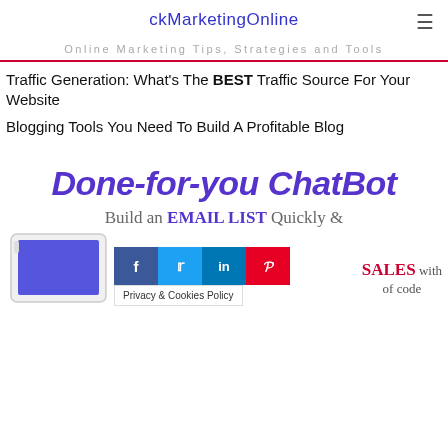ckMarketingOnline
Online Marketing Tips, Strategies and Tools
Traffic Generation: What's The BEST Traffic Source For Your Website
Blogging Tools You Need To Build A Profitable Blog
[Figure (infographic): Done-for-you ChatBot promotional banner with text 'Done-for-you ChatBot', 'Build an EMAIL LIST Quickly &', 'SALES with', 'of code', social share buttons (Facebook, Twitter, LinkedIn, Pinterest), Privacy & Cookies Policy bar, and tablet device illustration]
Privacy & Cookies Policy